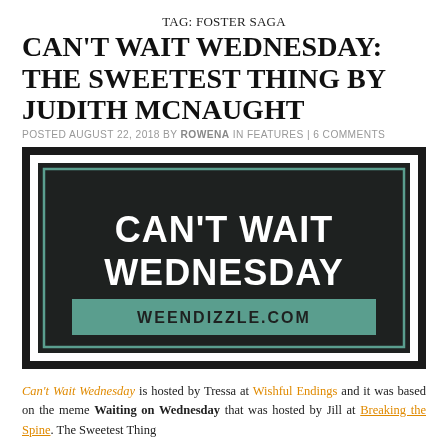TAG: FOSTER SAGA
CAN'T WAIT WEDNESDAY: THE SWEETEST THING BY JUDITH MCNAUGHT
POSTED AUGUST 22, 2018 BY ROWENA IN FEATURES | 6 COMMENTS
[Figure (illustration): Can't Wait Wednesday banner graphic with dark background, teal border, bold white text reading 'CAN'T WAIT WEDNESDAY' and a teal rectangle at the bottom with text 'WEENDIZZLE.COM']
Can't Wait Wednesday is hosted by Tressa at Wishful Endings and it was based on the meme Waiting on Wednesday that was hosted by Jill at Breaking the Spine. The Sweetest Thing